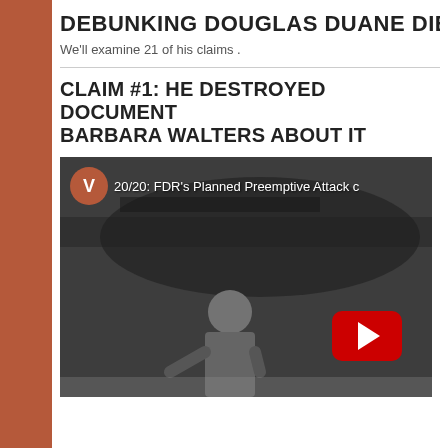DEBUNKING DOUGLAS DUANE DIETRIC
We'll examine 21 of his claims .
CLAIM #1: HE DESTROYED DOCUMENT BARBARA WALTERS ABOUT IT
[Figure (screenshot): YouTube video thumbnail showing a black and white image of a military officer, with a YouTube play button overlay. The video title reads '20/20: FDR's Planned Preemptive Attack c'. A red circle with 'V' appears top-left of the video.]